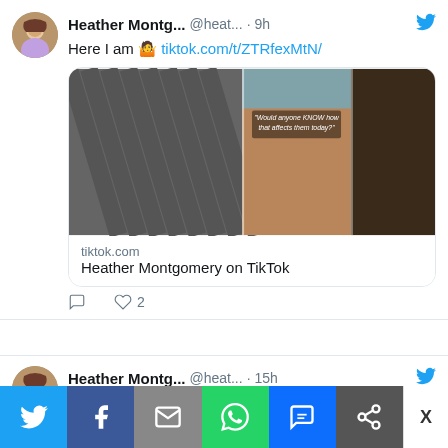Heather Montg... @heat... · 9h
Here I am 🤷 tiktok.com/t/ZTRfexMtN/
[Figure (screenshot): TikTok video preview showing three panels: grey architectural surface, leg/foot near pool, and dark brown background]
tiktok.com
Heather Montgomery on TikTok
♡ 2
Heather Montg... @heat... · 15h
A huge thanks to @spectrumresorts
[Figure (screenshot): Social media share bar with Twitter, Facebook, Email, WhatsApp, SMS, and ShareMore buttons]